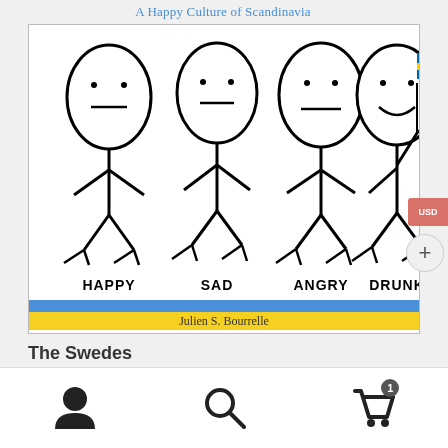The Swedes: A Happy Culture of Scandinavia
[Figure (illustration): Book cover illustration showing four stick figures labeled HAPPY, SAD, ANGRY, DRUNK from left to right. The DRUNK figure holds a Swedish flag. Below the figures are horizontal blue and yellow stripes (Swedish flag colors). Author name 'Julien S. Bourrelle' appears on a yellow stripe.]
Navigation bar with user icon, search icon, and shopping cart icon with badge showing 1